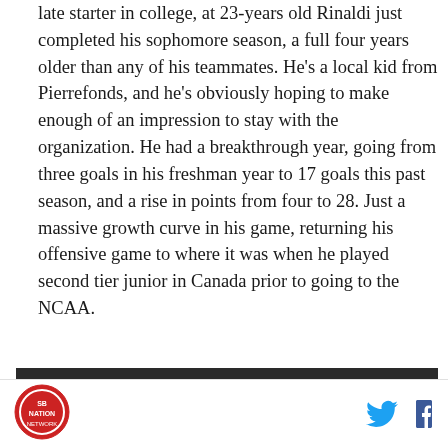late starter in college, at 23-years old Rinaldi just completed his sophomore season, a full four years older than any of his teammates. He's a local kid from Pierrefonds, and he's obviously hoping to make enough of an impression to stay with the organization. He had a breakthrough year, going from three goals in his freshman year to 17 goals this past season, and a rise in points from four to 28. Just a massive growth curve in his game, returning his offensive game to where it was when he played second tier junior in Canada prior to going to the NCAA.
[Figure (screenshot): Video thumbnail showing Hockey Highlights: Tech vs. No. 16... with a husky mascot logo on dark background]